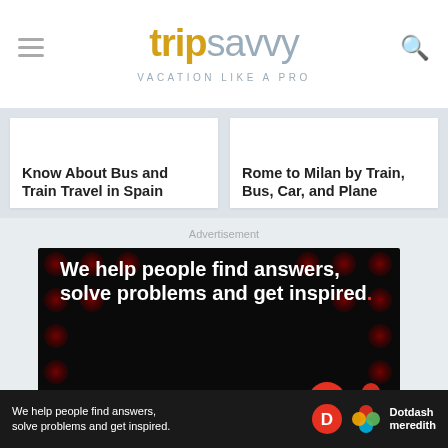tripsavvy VACATION LIKE A PRO
Know About Bus and Train Travel in Spain
Rome to Milan by Train, Bus, Car, and Plane
Advertisement
[Figure (screenshot): Dotdash Meredith advertisement on black background with dark red dot pattern. Text reads: We help people find answers, solve problems and get inspired. LEARN MORE with arrow. Bottom logos show Dotdash D logo and colorful flower logo.]
[Figure (screenshot): Bottom banner ad: We help people find answers, solve problems and get inspired. Dotdash meredith logos on right.]